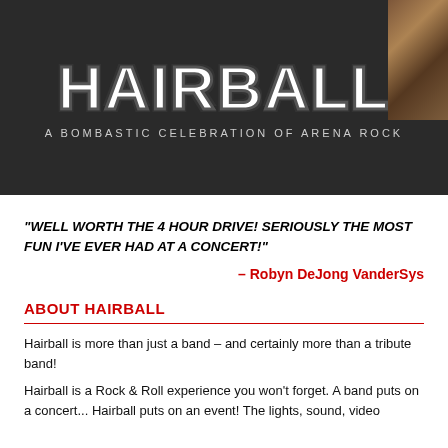[Figure (illustration): Hairball band logo on dark background with text 'A BOMBASTIC CELEBRATION OF ARENA ROCK']
“WELL WORTH THE 4 HOUR DRIVE! SERIOUSLY THE MOST FUN I’VE EVER HAD AT A CONCERT!”
– Robyn DeJong VanderSys
ABOUT HAIRBALL
Hairball is more than just a band – and certainly more than a tribute band!
Hairball is a Rock & Roll experience you won’t forget. A band puts on a concert... Hairball puts on an event! The lights, sound, video